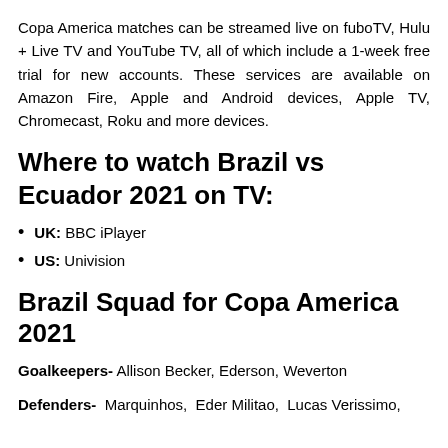Copa America matches can be streamed live on fuboTV, Hulu + Live TV and YouTube TV, all of which include a 1-week free trial for new accounts. These services are available on Amazon Fire, Apple and Android devices, Apple TV, Chromecast, Roku and more devices.
Where to watch Brazil vs Ecuador 2021 on TV:
UK: BBC iPlayer
US: Univision
Brazil Squad for Copa America 2021
Goalkeepers- Allison Becker, Ederson, Weverton
Defenders- Marquinhos, Eder Militao, Lucas Verissimo,